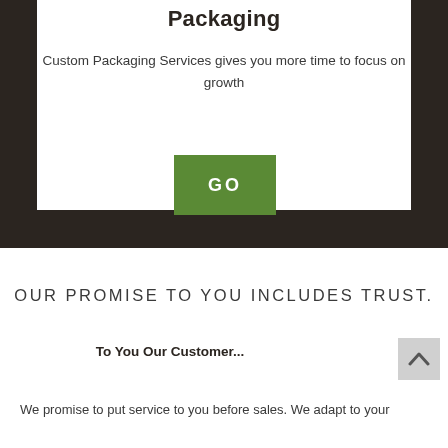Packaging
Custom Packaging Services gives you more time to focus on growth
[Figure (other): Green GO button/call-to-action button]
OUR PROMISE TO YOU INCLUDES TRUST.
To You Our Customer...
We promise to put service to you before sales. We adapt to your